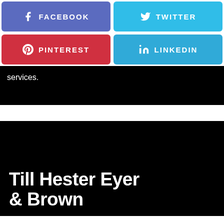[Figure (infographic): Four social media share buttons: Facebook (blue-purple), Twitter (light blue), Pinterest (red), LinkedIn (light blue), arranged in 2x2 grid]
services.
Till Hester Eyer & Brown